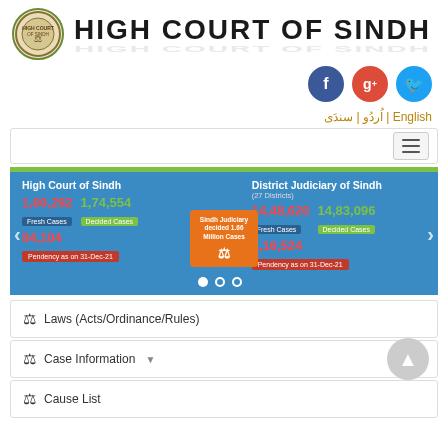HIGH COURT OF SINDH
[Figure (logo): High Court of Sindh official seal/emblem in circular format]
[Figure (infographic): Social media icons: Facebook, Google+, Twitter]
اُردُو | سندَی | English
[Figure (screenshot): Navigation menu bar with hamburger icon]
[Figure (infographic): Statistics banner showing High Court of Sindh and District Judiciary of Sindh case statistics. High Court: Fresh Cases 1,80,292; Decided Cases 1,74,554; Pendency as on 31-Dec-21: 84,104. District Judiciary of Sindh (27 Districts): Fresh Cases 14,48,620; Decided Cases 14,83,096; Pendency as on 31-Dec-21: 1,16,524. Center badge: Sindh Judiciary decided 1.66 Million Cases.]
Laws (Acts/Ordinance/Rules)
Case Information
Cause List